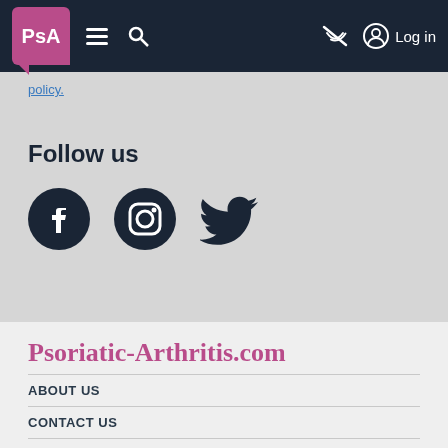PsA Logo | Navigation menu | Search | Log in
policy.
Follow us
[Figure (illustration): Social media icons: Facebook, Instagram, Twitter]
Psoriatic-Arthritis.com
ABOUT US
CONTACT US
TERMS OF USE
PRIVACY POLICY